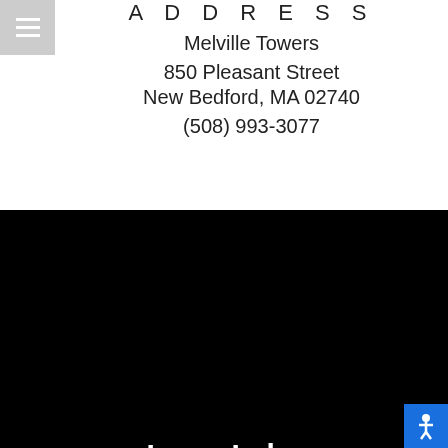ADDRESS
Melville Towers
850 Pleasant Street
New Bedford, MA 02740
(508) 993-3077
[Figure (logo): LeaseLabs by RealPage logo in white on black background]
[Figure (infographic): Row of icons: Equal Housing Opportunity, Wheelchair Accessible, No Smoking, Pet Friendly]
[Figure (logo): Peabody logo partial view at bottom]